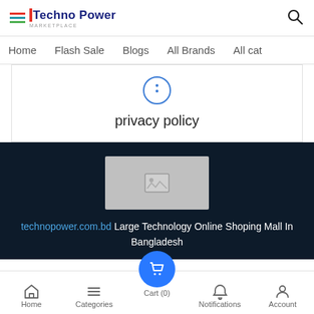Techno Power — header with logo and search icon
Home | Flash Sale | Blogs | All Brands | All cat
[Figure (illustration): Privacy policy icon — a circle with a colon-like symbol inside, in blue outline]
privacy policy
[Figure (photo): Placeholder image box with mountain/image icon in grey]
technopower.com.bd Large Technology Online Shoping Mall In Bangladesh
Home | Categories | Cart (0) | Notifications | Account